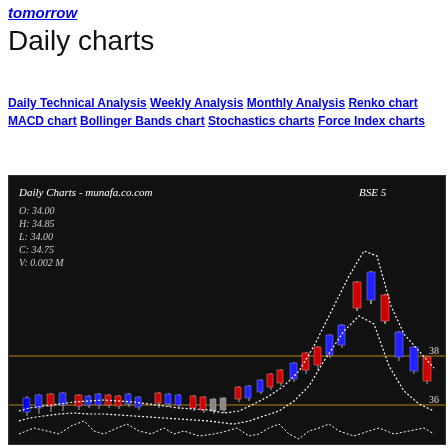tomorrow
Daily charts
Daily Technical Analysis  Weekly Analysis  Monthly Analysis  Renko chart  MACD chart  Bollinger Bands chart  Stochastics charts  Force Index charts
[Figure (continuous-plot): Daily candlestick chart from munafa.co.com showing BSE 5x price data. OHLCV: O:34.00, H:34.85, L:34.00, C:34.75, V:0.002 M. Chart shows blue and red candlesticks with white dotted Bollinger Bands overlay. Price levels 38 and 36 marked with horizontal orange lines. Lower panel shows momentum/oscillator line in white dotted style.]